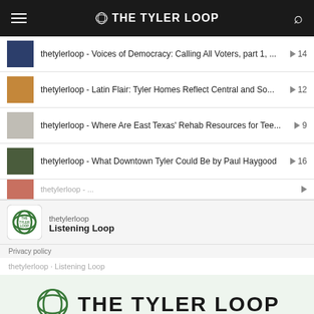THE TYLER LOOP
thetylerloop - Voices of Democracy: Calling All Voters, part 1, ... ▶ 14
thetylerloop - Latin Flair: Tyler Homes Reflect Central and So... ▶ 12
thetylerloop - Where Are East Texas' Rehab Resources for Tee... ▶ 9
thetylerloop - What Downtown Tyler Could Be by Paul Haygood ▶ 16
thetylerloop
Listening Loop
Privacy policy
thetylerloop · Listening Loop
[Figure (logo): The Tyler Loop logo - large green loop icon with THE TYLER LOOP text]
OUR MISSION AND OUR STAFF   TERMS OF SERVICE   PRIVACY POLICY